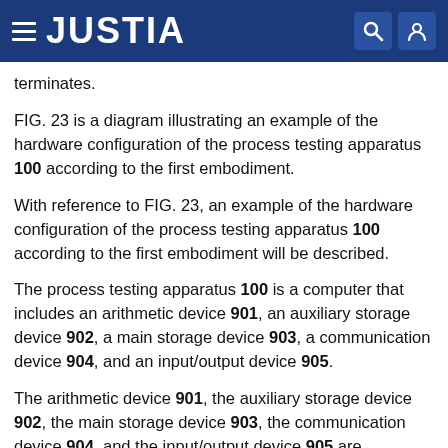JUSTIA
terminates.
FIG. 23 is a diagram illustrating an example of the hardware configuration of the process testing apparatus 100 according to the first embodiment.
With reference to FIG. 23, an example of the hardware configuration of the process testing apparatus 100 according to the first embodiment will be described.
The process testing apparatus 100 is a computer that includes an arithmetic device 901, an auxiliary storage device 902, a main storage device 903, a communication device 904, and an input/output device 905.
The arithmetic device 901, the auxiliary storage device 902, the main storage device 903, the communication device 904, and the input/output device 905 are